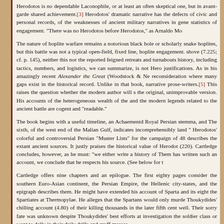Herodotos is no dependable Laconophile, or at least an often skeptical one, but in avant-garde shared achievement.[3] Herodotos' dramatic narrative has the defects of civic and personal records, of the weaknesses of ancient military narratives in gene statistics of engagement. "There was no Herodotos before Herodotos," as Arnaldo Mo
The nature of hoplite warfare remains a notorious black hole or scholarly snake hoplites, but this battle was not a typical open-field, fixed line, hoplite engagement. shove (7.225; cf. p. 145), neither this nor the reported feigned retreats and turnabouts history, including tactics, numbers, and logistics, we can summarize, is not Hero justifications. As in his amazingly recent Alexander the Great (Woodstock & Ne reconsideration where many gaps exist in the historical record. Unlike in that book, narrative prose-writers.[5] This raises the question whether the modern author will s the original, unimprovable version. His accounts of the heterogeneous wealth of the and the modern legends related to the ancient battle are cogent and "readable."
The book begins with a useful timeline, an Achaemenid Royal Persian stemma, and The sixth, of the west end of the Malian Gulf, indicates incomprehensibly land " Herodotos' colorful and controversial Persian "Muster Lists" for the campaign of 48 describes the extant ancient sources. It justly praises the historical value of Herodot (220). Cartledge concludes, however, as he must: "we either write a history of Them has written such an account, we conclude that he respects his source. (See below for t
Cartledge offers nine chapters and an epilogue. The first eighty pages consider the southern Euro-Asian continent, the Persian Empire, the Hellenic city-states, and the epigraph describes them. He might have extended his account of Sparta and its eight the Spartiates at Thermopylae. He alleges that the Spartans would only murde Thoukydides' chilling account (4.80) of their killing thousands in the later fifth cent well. Their sorry fate was unknown despite Thoukydides' best efforts at investigation the soldier class or want to dally in their daily drills and gruff messes.
The next three chapters replay Book 7 of Herodotos' Histories. These three cha